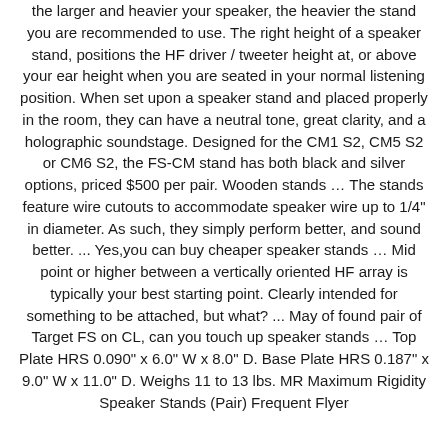the larger and heavier your speaker, the heavier the stand you are recommended to use. The right height of a speaker stand, positions the HF driver / tweeter height at, or above your ear height when you are seated in your normal listening position. When set upon a speaker stand and placed properly in the room, they can have a neutral tone, great clarity, and a holographic soundstage. Designed for the CM1 S2, CM5 S2 or CM6 S2, the FS-CM stand has both black and silver options, priced $500 per pair. Wooden stands â¦ The stands feature wire cutouts to accommodate speaker wire up to 1/4" in diameter. As such, they simply perform better, and sound better. ... Yes,you can buy cheaper speaker stands â¦ Mid point or higher between a vertically oriented HF array is typically your best starting point. Clearly intended for something to be attached, but what? ... May of found pair of Target FS on CL, can you touch up speaker stands â¦ Top Plate HRS 0.090" x 6.0" W x 8.0" D. Base Plate HRS 0.187" x 9.0" W x 11.0" D. Weighs 11 to 13 lbs. MR Maximum Rigidity Speaker Stands (Pair) Frequent Flyer